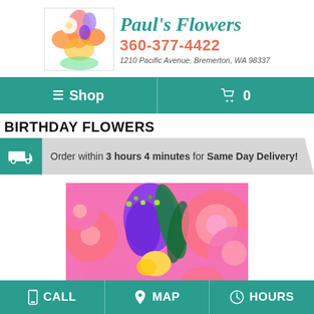[Figure (logo): Paul's Flowers logo with flower image, store name in teal italic script, phone number in orange, and address in italic text. Phone: 360-377-4422. Address: 1210 Pacific Avenue, Bremerton, WA 98337]
≡ Shop | 🛒 0
BIRTHDAY FLOWERS
Order within 3 hours 4 minutes for Same Day Delivery!
[Figure (photo): Close-up photo of colorful birthday flowers including purple iris, pink gerbera daisies, pink peonies, and yellow iris petals on a pink background]
CALL   MAP   HOURS